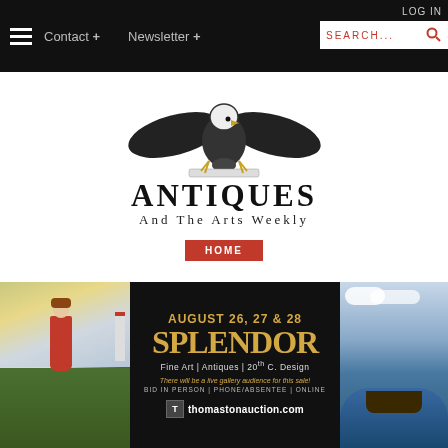Contact + | Newsletter + | LOG IN | SEARCH...
[Figure (logo): Antiques And The Arts Weekly logo with eagle illustration, publication name 'ANTIQUES And The Arts Weekly' and HOME button]
[Figure (infographic): Thomaston Auction banner advertisement: AUGUST 26, 27 & 28 SPLENDOR Fine Art | Antiques | 20th C. Design. There will be a live gallery audience for this sale! BID IN PERSON | PHONE/ABSENTEE | ONLINE. thomastonauction.com. Flanked by paintings of a figure in red coat with lighthouse and a tall ship at sea.]